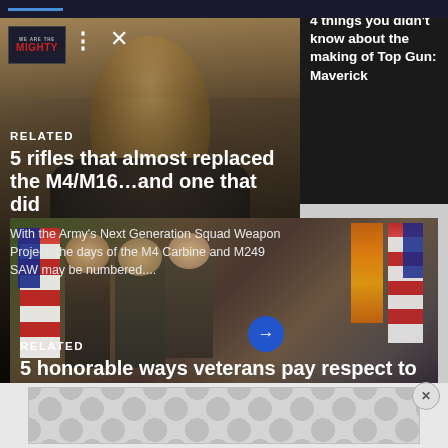[Figure (screenshot): Website header bar with blue indicator line]
[Figure (screenshot): Dark right panel showing article teaser: 4 things you didn't know about the making of Top Gun: Maverick]
4 things you didn't know about the making of Top Gun: Maverick
[Figure (photo): Article card 1: Military themed photo background with pilot/aircraft imagery]
[Figure (logo): We Are The Mighty logo in top left]
RELATED
5 rifles that almost replaced the M4/M16…and one that did
With the Army's Next Generation Squad Weapon Project, the days of the M4 Carbine and M249 SAW may be numbered....
[Figure (photo): Article card 2: Veterans with American flags and motorcycles paying respects]
RELATED
5 honorable ways veterans pay respect to the fallen
Veterans visit their fallen brothers and sisters at...
[Figure (other): Advertisement banner at bottom with repeating circular pattern]